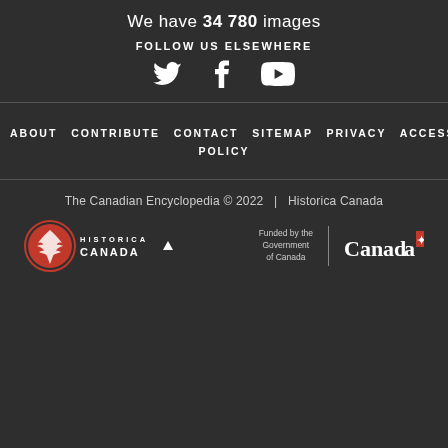We have 34 780 images
FOLLOW US ELSEWHERE
[Figure (illustration): Social media icons: Twitter bird, Facebook f, YouTube play button]
ABOUT  CONTRIBUTE  CONTACT  SITEMAP  PRIVACY  ACCESS POLICY
The Canadian Encyclopedia © 2022  |  Historica Canada
[Figure (logo): Historica Canada logo with red maple leaf emblem and text HISTORICA CANADA, followed by a small triangle]
[Figure (logo): Funded by the Government of Canada | Canada wordmark logo]